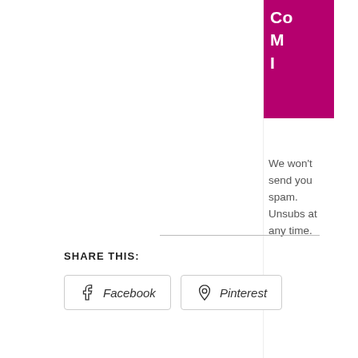[Figure (other): Magenta/pink banner block in sidebar with partial white text letters 'Co', 'M', 'I' visible (truncated)]
We won't send you spam. Unsubs at any time.
[Figure (other): Small dark logo or spinner icon (letter C shape)]
SHARE THIS:
[Figure (other): Facebook share button with Facebook icon]
[Figure (other): Pinterest share button with Pinterest icon]